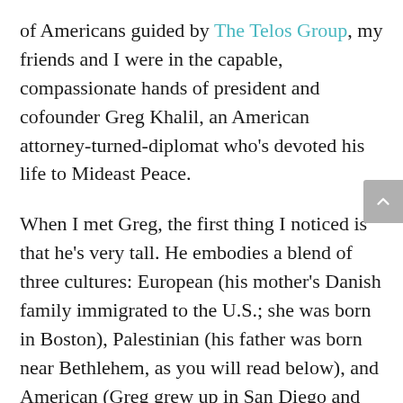of Americans guided by The Telos Group, my friends and I were in the capable, compassionate hands of president and cofounder Greg Khalil, an American attorney-turned-diplomat who's devoted his life to Mideast Peace.
When I met Greg, the first thing I noticed is that he's very tall. He embodies a blend of three cultures: European (his mother's Danish family immigrated to the U.S.; she was born in Boston), Palestinian (his father was born near Bethlehem, as you will read below), and American (Greg grew up in San Diego and studied law at